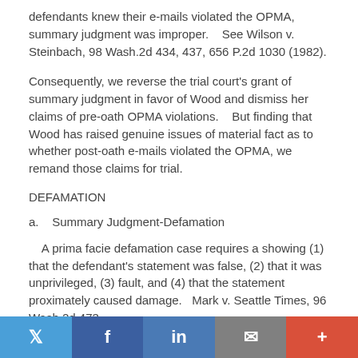defendants knew their e-mails violated the OPMA, summary judgment was improper.    See Wilson v. Steinbach, 98 Wash.2d 434, 437, 656 P.2d 1030 (1982).
Consequently, we reverse the trial court's grant of summary judgment in favor of Wood and dismiss her claims of pre-oath OPMA violations.    But finding that Wood has raised genuine issues of material fact as to whether post-oath e-mails violated the OPMA, we remand those claims for trial.
DEFAMATION
a.    Summary Judgment-Defamation
A prima facie defamation case requires a showing (1) that the defendant's statement was false, (2) that it was unprivileged, (3) fault, and (4) that the statement proximately caused damage.   Mark v. Seattle Times, 96 Wash.2d 473,
Twitter | Facebook | LinkedIn | Email | Plus